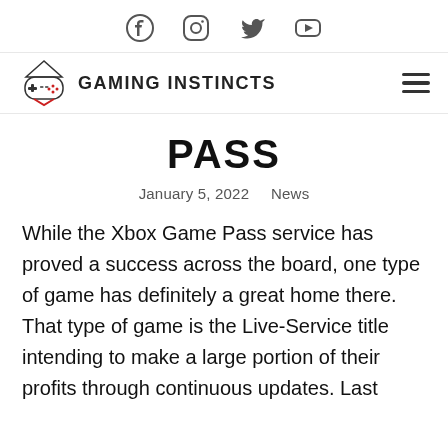[Figure (logo): Social media icons row: Facebook, Instagram, Twitter, YouTube]
[Figure (logo): Gaming Instincts logo with gamepad icon and site name, plus hamburger menu]
PASS
January 5, 2022   News
While the Xbox Game Pass service has proved a success across the board, one type of game has definitely a great home there. That type of game is the Live-Service title intending to make a large portion of their profits through continuous updates. Last